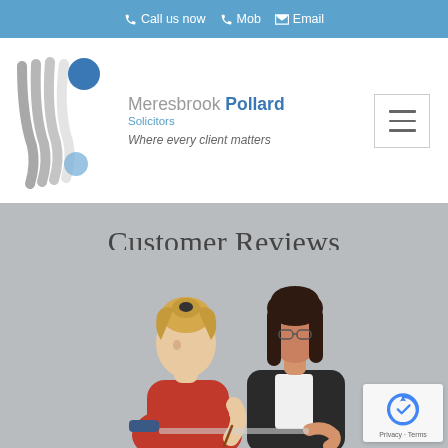☎ Call us now  ☎ Mob  ✉ Email
[Figure (logo): Meresbrook Pollard Solicitors logo with stylized grey wave mark and blue circle, tagline 'Where every client matters']
Customer Reviews
[Figure (photo): Two women looking at documents together, one in red top and one in dark blazer, against grey background]
[Figure (other): Google reCAPTCHA badge with Privacy - Terms text]